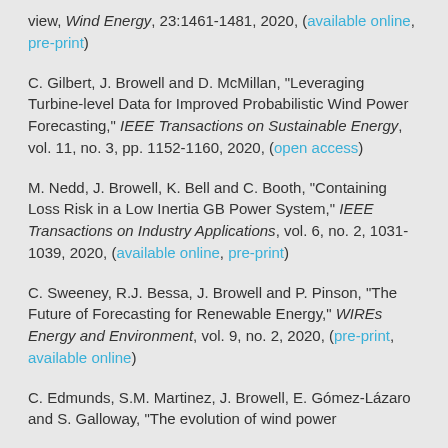view, Wind Energy, 23:1461-1481, 2020, (available online, pre-print)
C. Gilbert, J. Browell and D. McMillan, "Leveraging Turbine-level Data for Improved Probabilistic Wind Power Forecasting," IEEE Transactions on Sustainable Energy, vol. 11, no. 3, pp. 1152-1160, 2020, (open access)
M. Nedd, J. Browell, K. Bell and C. Booth, "Containing Loss Risk in a Low Inertia GB Power System," IEEE Transactions on Industry Applications, vol. 6, no. 2, 1031-1039, 2020, (available online, pre-print)
C. Sweeney, R.J. Bessa, J. Browell and P. Pinson, "The Future of Forecasting for Renewable Energy," WIREs Energy and Environment, vol. 9, no. 2, 2020, (pre-print, available online)
C. Edmunds, S.M. Martinez, J. Browell, E. Gómez-Lázaro and S. Galloway, "The evolution of wind power